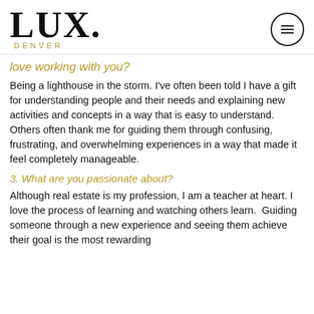LUX. DENVER
love working with you?
Being a lighthouse in the storm. I've often been told I have a gift for understanding people and their needs and explaining new activities and concepts in a way that is easy to understand. Others often thank me for guiding them through confusing, frustrating, and overwhelming experiences in a way that made it feel completely manageable.
3. What are you passionate about?
Although real estate is my profession, I am a teacher at heart. I love the process of learning and watching others learn.  Guiding someone through a new experience and seeing them achieve their goal is the most rewarding